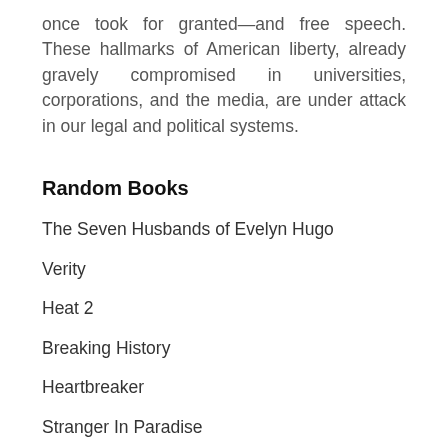once took for granted—and free speech. These hallmarks of American liberty, already gravely compromised in universities, corporations, and the media, are under attack in our legal and political systems.
Random Books
The Seven Husbands of Evelyn Hugo
Verity
Heat 2
Breaking History
Heartbreaker
Stranger In Paradise
Food IQ